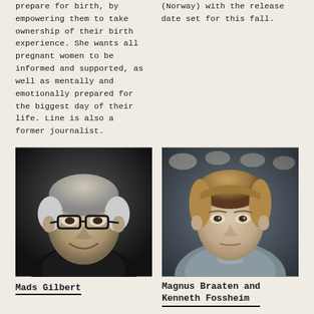prepare for birth, by empowering them to take ownership of their birth experience. She wants all pregnant women to be informed and supported, as well as mentally and emotionally prepared for the biggest day of their life. Line is also a former journalist.
(Norway) with the release date set for this fall.
[Figure (photo): Black and white portrait photo of an older man with glasses, smiling slightly, wearing a dark top.]
[Figure (photo): Black and white portrait photo of a young man with light brown hair wearing a grey button-up shirt, looking directly at camera with office/indoor background.]
Mads Gilbert
Magnus Braaten and Kenneth Fossheim